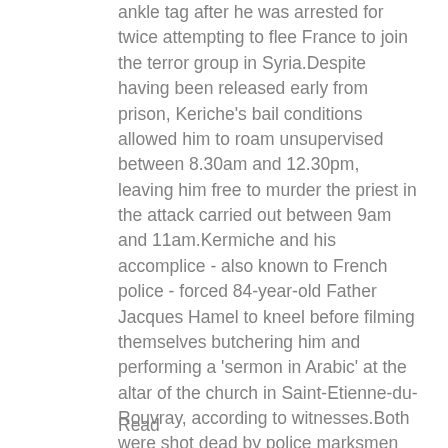ankle tag after he was arrested for twice attempting to flee France to join the terror group in Syria.Despite having been released early from prison, Keriche's bail conditions allowed him to roam unsupervised between 8.30am and 12.30pm, leaving him free to murder the priest in the attack carried out between 9am and 11am.Kermiche and his accomplice - also known to French police - forced 84-year-old Father Jacques Hamel to kneel before filming themselves butchering him and performing a 'sermon in Arabic' at the altar of the church in Saint-Etienne-du-Rouvray, according to witnesses.Both were shot dead by police marksmen as they emerged from the building shouting 'Allahu Akbar' following the attack that also left a nun critically injured.French President Francois Hollande, who visited the scene today, said the country is now 'at war' with ISIS after the terror group claimed responsibility.
Read